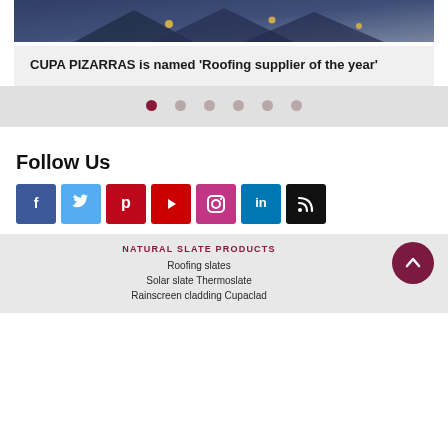[Figure (photo): Photo of a modern house with dark slate roof panels and warm lighting at dusk]
CUPA PIZARRAS is named 'Roofing supplier of the year'
[Figure (infographic): Carousel navigation dots, 6 total, first one active (dark red), rest grey]
Follow Us
[Figure (infographic): Social media icons row: Facebook, Twitter, Pinterest, YouTube, Instagram, LinkedIn, RSS]
NATURAL SLATE PRODUCTS
Roofing slates
Solar slate Thermoslate
Rainscreen cladding Cupaclad